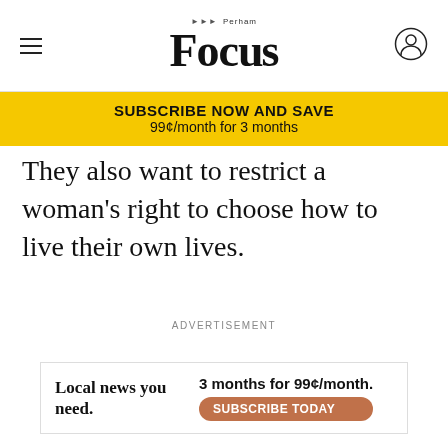Perham Focus
SUBSCRIBE NOW AND SAVE
99¢/month for 3 months
They also want to restrict a woman's right to choose how to live their own lives.
ADVERTISEMENT
[Figure (other): Bottom advertisement banner: 'Local news you need. 3 months for 99¢/month. SUBSCRIBE TODAY']